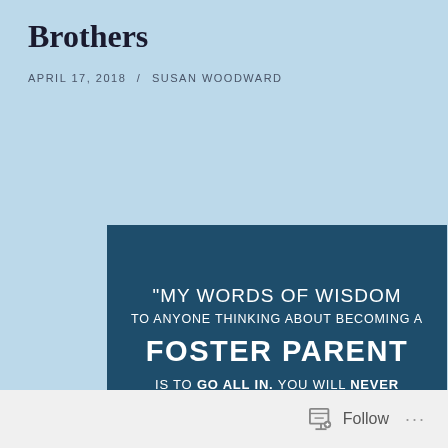Brothers
APRIL 17, 2018 / SUSAN WOODWARD
[Figure (illustration): Dark teal square image with white text quote: "My words of wisdom to anyone thinking about becoming a Foster Parent is to go all in. You will never regret the investment of time, Love, & Compassion you have sown into the Life of a Child."]
Follow ...